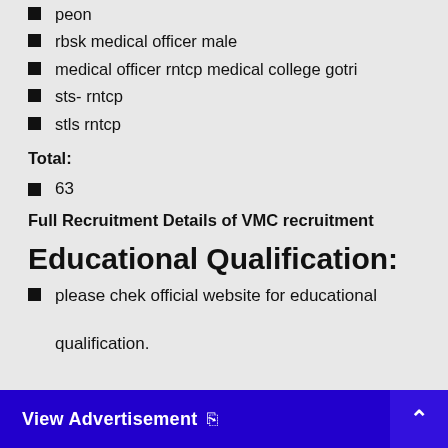peon
rbsk medical officer male
medical officer rntcp medical college gotri
sts- rntcp
stls rntcp
Total:
63
Full Recruitment Details of VMC recruitment
Educational Qualification:
please chek official website for educational qualification.